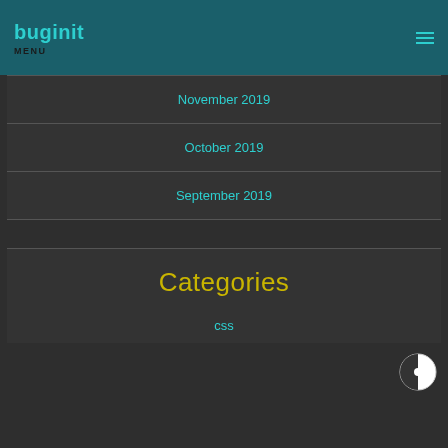buginit MENU
November 2019
October 2019
September 2019
Categories
css